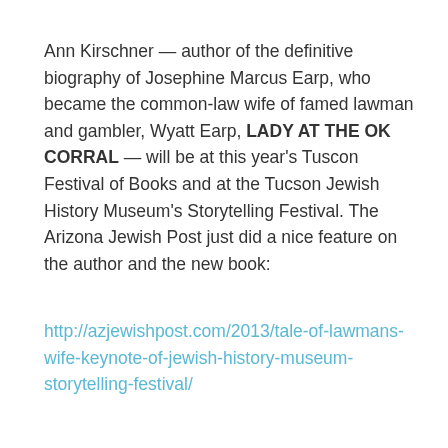Ann Kirschner — author of the definitive biography of Josephine Marcus Earp, who became the common-law wife of famed lawman and gambler, Wyatt Earp, LADY AT THE OK CORRAL — will be at this year's Tuscon Festival of Books and at the Tucson Jewish History Museum's Storytelling Festival. The Arizona Jewish Post just did a nice feature on the author and the new book:
http://azjewishpost.com/2013/tale-of-lawmans-wife-keynote-of-jewish-history-museum-storytelling-festival/